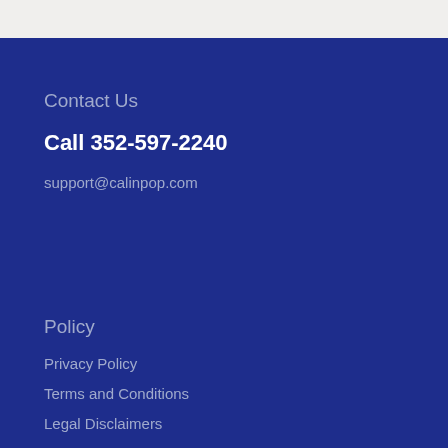Contact Us
Call 352-597-2240
support@calinpop.com
Policy
Privacy Policy
Terms and Conditions
Legal Disclaimers